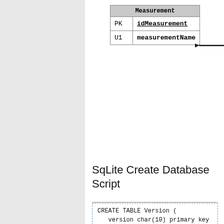[Figure (other): Database schema diagram showing a table named 'Measurement' with fields: PK idMeasurement, U1 measurementName, with an arrow pointing to the table from the right.]
SqLite Create Database Script
CREATE TABLE Version (
   version char(10) primary key
);